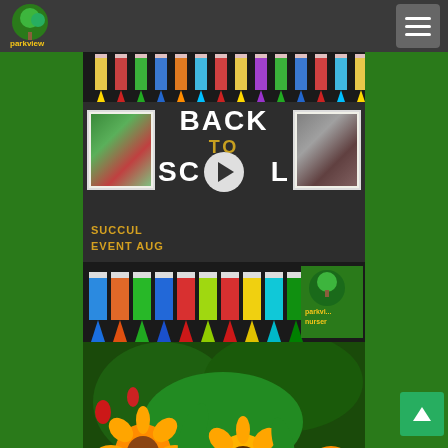[Figure (logo): Parkview Nursery logo with tree graphic and yellow/green text on dark header bar]
[Figure (screenshot): Navigation hamburger menu button (three horizontal lines) on dark header bar, top right]
[Figure (photo): Back to School promotional image on chalkboard background with colored pencils at top, text reading BACK TO SCHOOL, SUCCUL EVENT AUG, with plant photos on sides and play button overlay]
[Figure (photo): Row of colorful pencils pointing up from bottom with Parkview Nursery logo overlay on right side]
[Figure (photo): Yellow sunflowers and green foliage garden photo at bottom]